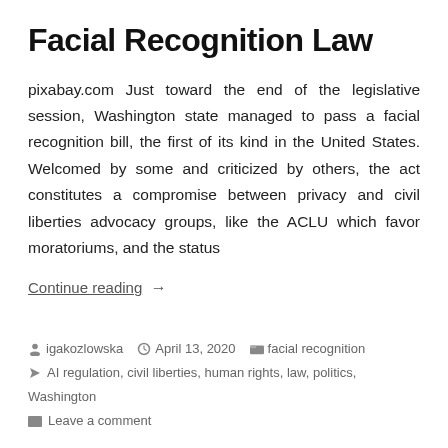Facial Recognition Law
pixabay.com Just toward the end of the legislative session, Washington state managed to pass a facial recognition bill, the first of its kind in the United States. Welcomed by some and criticized by others, the act constitutes a compromise between privacy and civil liberties advocacy groups, like the ACLU which favor moratoriums, and the status
Continue reading →
igakozlowska  April 13, 2020  facial recognition  AI regulation, civil liberties, human rights, law, politics, Washington  Leave a comment